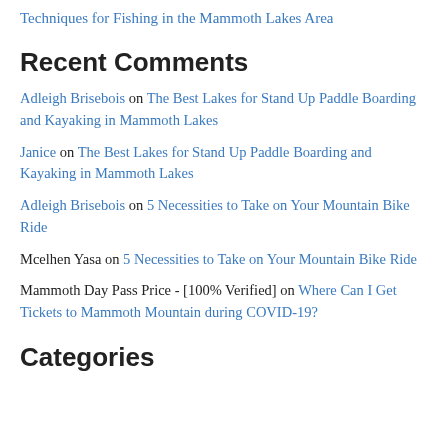Techniques for Fishing in the Mammoth Lakes Area
Recent Comments
Adleigh Brisebois on The Best Lakes for Stand Up Paddle Boarding and Kayaking in Mammoth Lakes
Janice on The Best Lakes for Stand Up Paddle Boarding and Kayaking in Mammoth Lakes
Adleigh Brisebois on 5 Necessities to Take on Your Mountain Bike Ride
Mcelhen Yasa on 5 Necessities to Take on Your Mountain Bike Ride
Mammoth Day Pass Price - [100% Verified] on Where Can I Get Tickets to Mammoth Mountain during COVID-19?
Categories